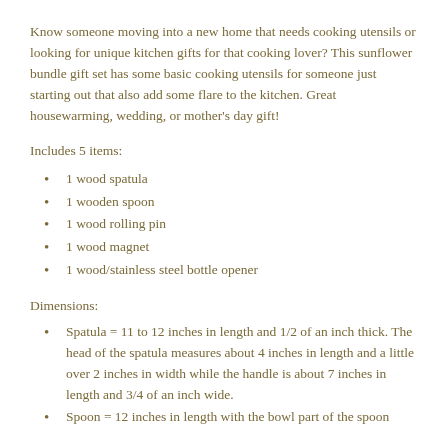Know someone moving into a new home that needs cooking utensils or looking for unique kitchen gifts for that cooking lover? This sunflower bundle gift set has some basic cooking utensils for someone just starting out that also add some flare to the kitchen. Great housewarming, wedding, or mother's day gift!
Includes 5 items:
1 wood spatula
1 wooden spoon
1 wood rolling pin
1 wood magnet
1 wood/stainless steel bottle opener
Dimensions:
Spatula = 11 to 12 inches in length and 1/2 of an inch thick. The head of the spatula measures about 4 inches in length and a little over 2 inches in width while the handle is about 7 inches in length and 3/4 of an inch wide.
Spoon = 12 inches in length with the bowl part of the spoon